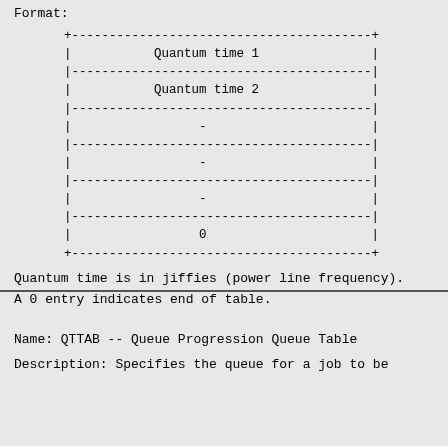Format:
[Figure (other): ASCII art table showing quantum time entries: Quantum time 1, Quantum time 2, -, -, -, 0]
Quantum time is in jiffies (power line frequency).
A 0 entry indicates end of table.
Name:  QTTAB -- Queue Progression Queue Table
Description:  Specifies the queue for a job  to  be